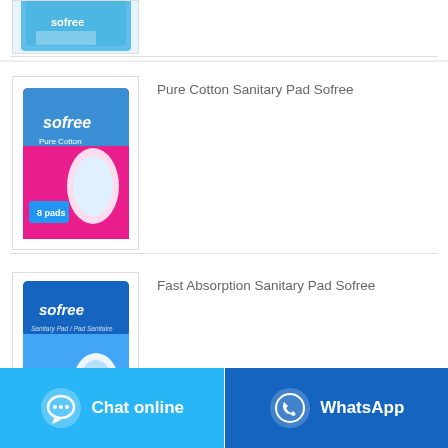[Figure (photo): Partial product image at top - sofree sanitary pad box (cropped)]
[Figure (photo): Sofree Pure Cotton sanitary pad product box - pink/blue packaging]
Pure Cotton Sanitary Pad Sofree
[Figure (photo): Sofree Fast Absorption sanitary pad product box - blue packaging]
Fast Absorption Sanitary Pad Sofree
Chat online
WhatsApp